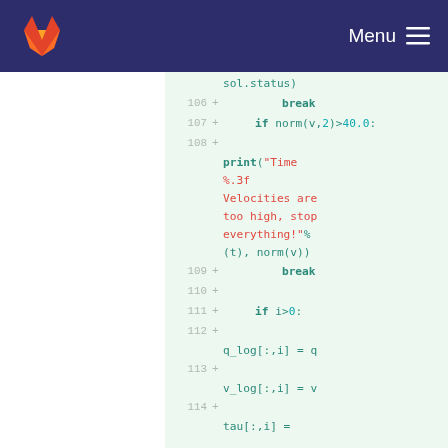GitLab — Menu
[Figure (screenshot): GitLab code diff view showing Python code lines 106-114 with added lines (+ markers) on a green background. Code includes break statements, if condition norm(v,2)>40.0, print statement with string 'Time %.3f Velocities are too high, stop everything!' and variable assignments q_log[:,i]=q, v_log[:,i]=v, tau[:,i]=]
sol.status)
106 + break
107 + if norm(v,2)>40.0:
108 + print("Time %.3f Velocities are too high, stop everything!"%( t), norm(v))
109 + break
110 +
111 + if i>0:
112 +
    q_log[:,i] = q
113 +
    v_log[:,i] = v
114 +
    tau[:,i] =